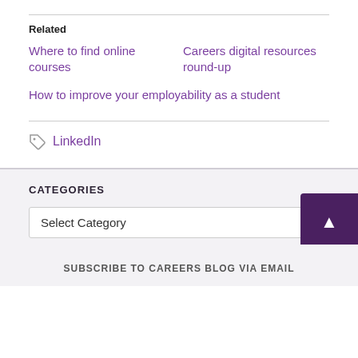Related
Where to find online courses
Careers digital resources round-up
How to improve your employability as a student
LinkedIn
CATEGORIES
Select Category